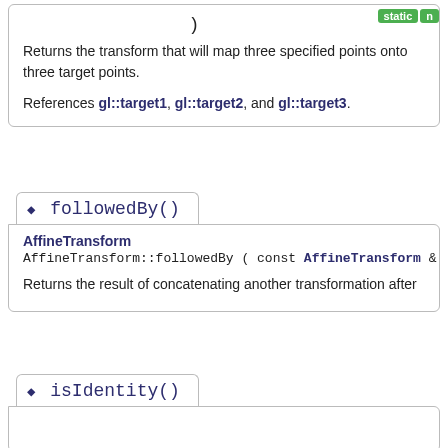)
Returns the transform that will map three specified points onto three target points.
References gl::target1, gl::target2, and gl::target3.
◆ followedBy()
AffineTransform
AffineTransform::followedBy ( const AffineTransform & other ) c
Returns the result of concatenating another transformation after
◆ isIdentity()